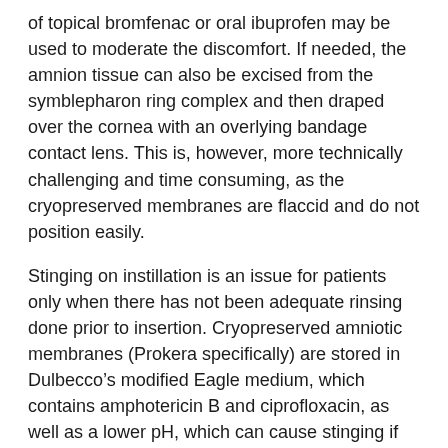of topical bromfenac or oral ibuprofen may be used to moderate the discomfort. If needed, the amnion tissue can also be excised from the symblepharon ring complex and then draped over the cornea with an overlying bandage contact lens. This is, however, more technically challenging and time consuming, as the cryopreserved membranes are flaccid and do not position easily.
Stinging on instillation is an issue for patients only when there has not been adequate rinsing done prior to insertion. Cryopreserved amniotic membranes (Prokera specifically) are stored in Dulbecco’s modified Eagle medium, which contains amphotericin B and ciprofloxacin, as well as a lower pH, which can cause stinging if not rinsed properly. In our office, we typically will use five 15ml bottles of sterile balanced saline solution for rinsing prior to insertion. This has essentially eliminated this complaint from patients.
Ejection of the ring is a possibility. To minimize this risk, assess the fit of the ring under the slit lamp after insertion.